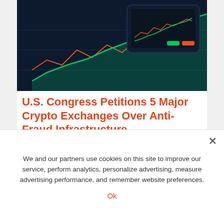[Figure (photo): Dark-themed financial chart/dashboard on a smartphone screen with colorful candlestick chart lines (green and orange), viewed from above on a dark blue background.]
U.S. Congress Petitions 5 Major Crypto Exchanges Over Anti-Fraud Infrastructure
[Figure (photo): Broken image placeholder icon — small image icon with mountain/sun symbol, indicating a failed image load.]
We and our partners use cookies on this site to improve our service, perform analytics, personalize advertising, measure advertising performance, and remember website preferences.
Ok